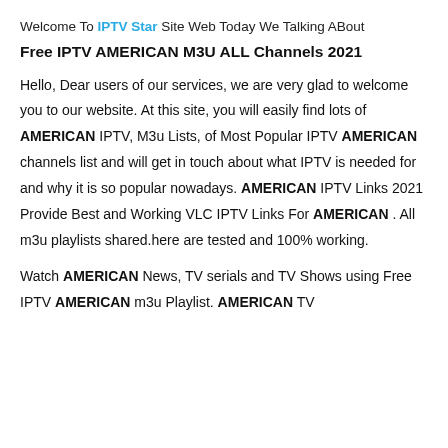Welcome To IPTV Star Site Web Today We Talking ABout
Free IPTV AMERICAN M3U ALL Channels 2021
Hello, Dear users of our services, we are very glad to welcome you to our website. At this site, you will easily find lots of AMERICAN IPTV, M3u Lists, of Most Popular IPTV AMERICAN channels list and will get in touch about what IPTV is needed for and why it is so popular nowadays. AMERICAN IPTV Links 2021 Provide Best and Working VLC IPTV Links For AMERICAN . All m3u playlists shared.here are tested and 100% working.
Watch AMERICAN News, TV serials and TV Shows using Free IPTV AMERICAN m3u Playlist. AMERICAN TV